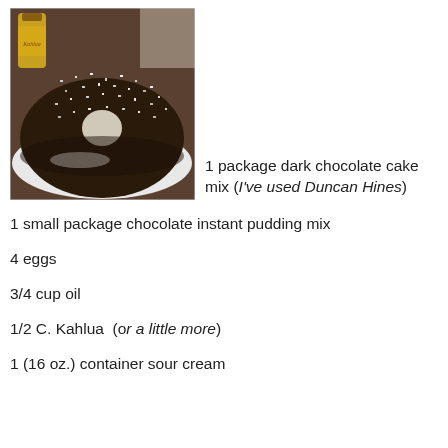[Figure (photo): Photo of a dark chocolate Bundt cake dusted with powdered sugar on a white plate, with a bottle of Kahlua visible in the background]
1 package dark chocolate cake mix (I've used Duncan Hines)
1 small package chocolate instant pudding mix
4 eggs
3/4 cup oil
1/2 C. Kahlua  (or a little more)
1 (16 oz.) container sour cream